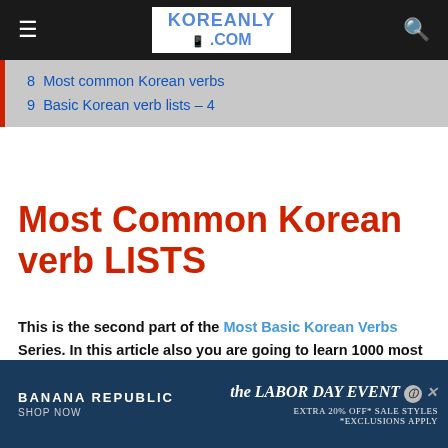KOREANLY .COM
8  Most common Korean verbs
9  Basic Korean verb lists – 4
Most Common Korean verb LISTS
This is the second part of the Most Basic Korean Verbs Series. In this article also you are going to learn 1000 most common Korean verbs and Korean Phrases related to these vocabularies. There are 2 types of Korean verb. They are –
[Figure (screenshot): Banana Republic advertisement banner: 'the LABOR DAY EVENT – EXTRA 20% OFF* SALE STYLES *EXCLUSIONS APPLY']